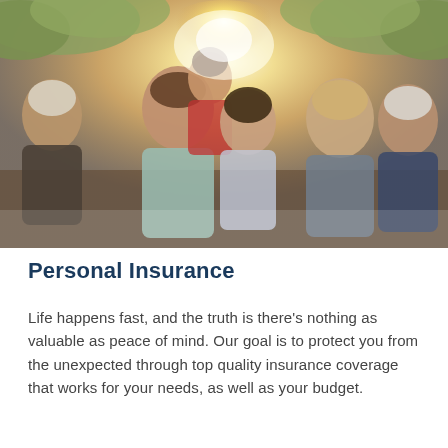[Figure (photo): A multi-generational family of six smiling and laughing outdoors in bright sunlight. From left: an older woman, a middle-aged man carrying a child on his back, two teenage/young girls, an adult woman, and an older man with glasses. The group appears joyful.]
Personal Insurance
Life happens fast, and the truth is there's nothing as valuable as peace of mind. Our goal is to protect you from the unexpected through top quality insurance coverage that works for your needs, as well as your budget.